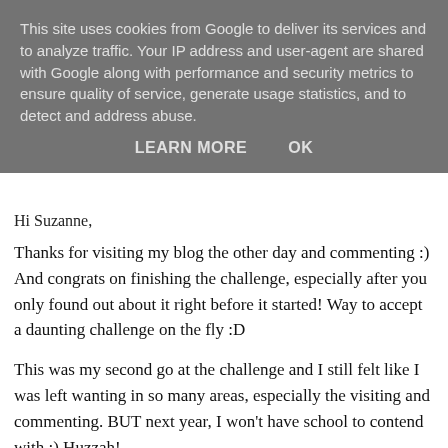This site uses cookies from Google to deliver its services and to analyze traffic. Your IP address and user-agent are shared with Google along with performance and security metrics to ensure quality of service, generate usage statistics, and to detect and address abuse.
LEARN MORE   OK
Hi Suzanne,
Thanks for visiting my blog the other day and commenting :) And congrats on finishing the challenge, especially after you only found out about it right before it started! Way to accept a daunting challenge on the fly :D
This was my second go at the challenge and I still felt like I was left wanting in so many areas, especially the visiting and commenting. BUT next year, I won't have school to contend with :) Huzzah!
Happy to "meet" you!
Cheers